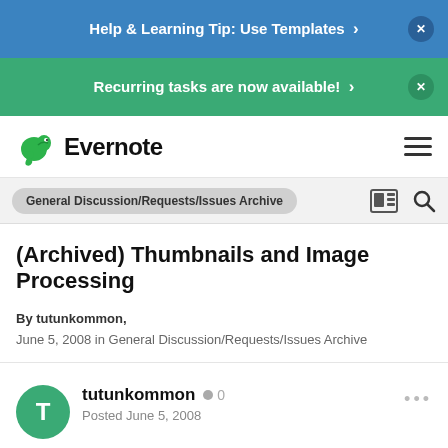Help & Learning Tip: Use Templates ›  ×
Recurring tasks are now available! ›  ×
[Figure (logo): Evernote logo with green elephant icon and hamburger menu]
General Discussion/Requests/Issues Archive
(Archived) Thumbnails and Image Processing
By tutunkommon,
June 5, 2008 in General Discussion/Requests/Issues Archive
tutunkommon  0
Posted June 5, 2008